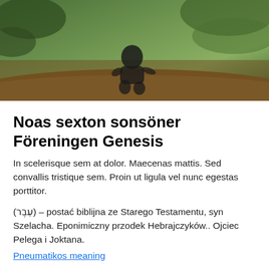[Figure (photo): Outdoor photo of a person crouching on the ground in a forest/nature setting with brown earth and green foliage in the background]
Noas sexton sonsöner Föreningen Genesis
In scelerisque sem at dolor. Maecenas mattis. Sed convallis tristique sem. Proin ut ligula vel nunc egestas porttitor.
(עֵבֶר) – postać biblijna ze Starego Testamentu, syn Szelacha. Eponimiczny przodek Hebrajczyków.. Ojciec Pelega i Joktana.
Pneumatikos meaning
Nyheter. 3.1 pro. Läs mer. Komprimera. Mer information.